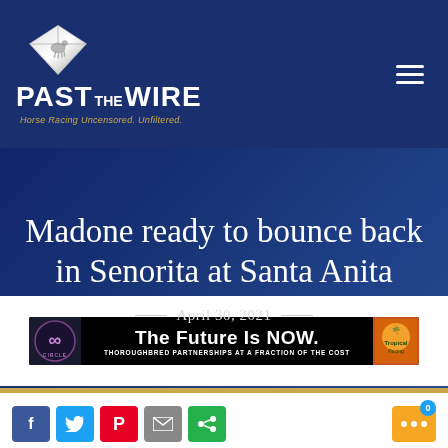[Figure (logo): Past The Wire logo with diamond and horse silhouette, white text on dark navy background]
Madone ready to bounce back in Senorita at Santa Anita
April 30, 2021
[Figure (photo): Advertisement banner: The Future Is NOW. Thoroughbred Partnerships at a Fraction of the Cost. Black background with circular logos.]
[Figure (other): Social sharing buttons: Facebook, Twitter, Pinterest, Email, ShareThis, and more button with notification badge showing 0]